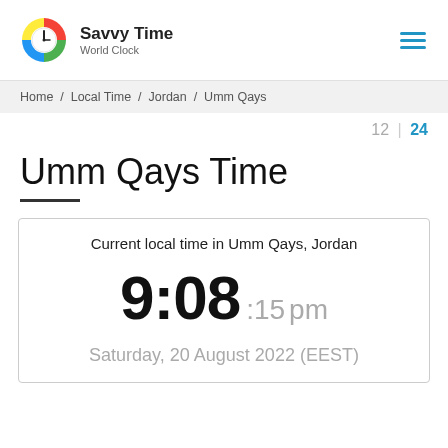Savvy Time World Clock
Home / Local Time / Jordan / Umm Qays
12 | 24
Umm Qays Time
Current local time in Umm Qays, Jordan
9:08 :15 pm
Saturday, 20 August 2022 (EEST)